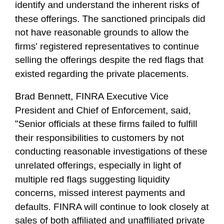identify and understand the inherent risks of these offerings. The sanctioned principals did not have reasonable grounds to allow the firms' registered representatives to continue selling the offerings despite the red flags that existed regarding the private placements.
Brad Bennett, FINRA Executive Vice President and Chief of Enforcement, said, "Senior officials at these firms failed to fulfill their responsibilities to customers by not conducting reasonable investigations of these unrelated offerings, especially in light of multiple red flags suggesting liquidity concerns, missed interest payments and defaults. FINRA will continue to look closely at sales of both affiliated and unaffiliated private placements to determine whether the selling firms fulfilled their responsibility to customers."
From 2001 through 2009, MedCap, a medical